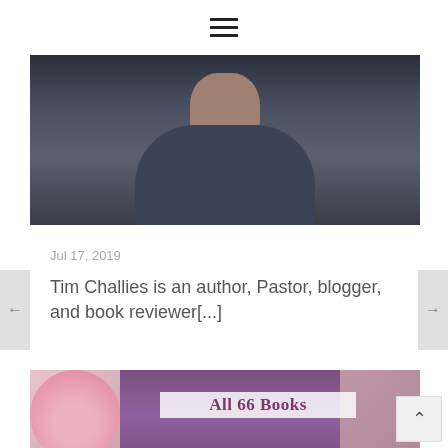≡ (hamburger menu icon)
[Figure (photo): A man wearing a dark blue/grey button-up shirt photographed from the shoulders up against a dark background]
Jul 17, 2019
Tim Challies is an author, Pastor, blogger, and book reviewer[...]
[Figure (photo): Image of a purple Bible/book with pink roses, overlaid with the text 'All 66 Books']
↑ (scroll to top button)